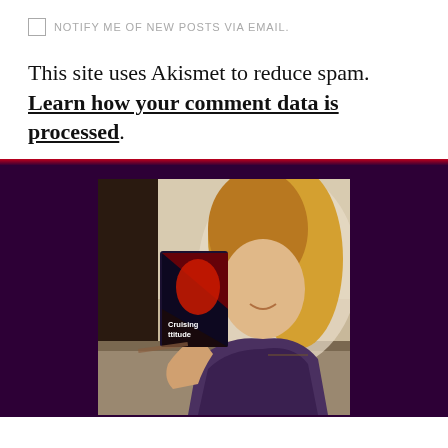NOTIFY ME OF NEW POSTS VIA EMAIL.
This site uses Akismet to reduce spam. Learn how your comment data is processed.
[Figure (photo): Woman with blonde hair holding up a book titled 'Cruising Attitude' at what appears to be a book signing or table event. Dark purple sidebar background.]